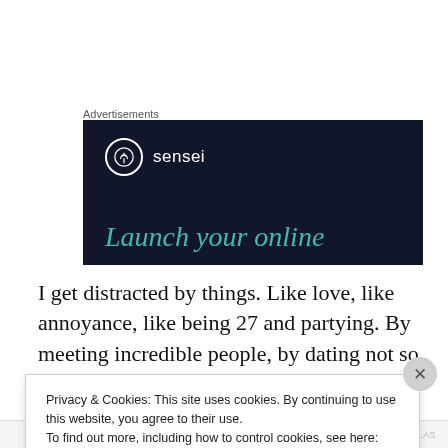Advertisements
[Figure (screenshot): Advertisement banner for 'sensei' with dark navy background. Shows sensei logo (tree icon in white circle) and brand name 'sensei' in white, with teal italic text 'Launch your online' below.]
I get distracted by things. Like love, like annoyance, like being 27 and partying. By meeting incredible people, by dating not so incredible people, by ideas,
Privacy & Cookies: This site uses cookies. By continuing to use this website, you agree to their use.
To find out more, including how to control cookies, see here: Cookie Policy
Close and accept